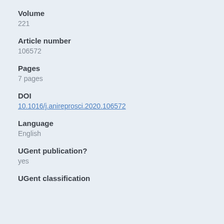Volume
221
Article number
106572
Pages
7 pages
DOI
10.1016/j.anireprosci.2020.106572
Language
English
UGent publication?
yes
UGent classification